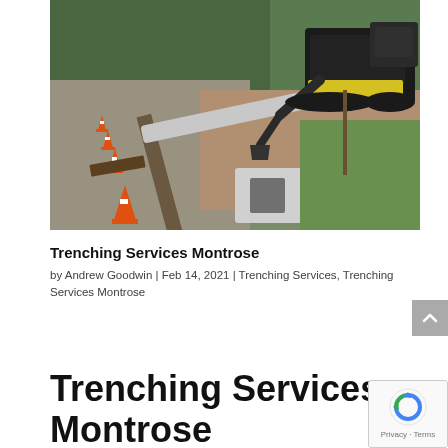[Figure (photo): Trenching construction site photo showing concrete pipes laid in a trench along a gravel road, with orange traffic cones lining the left side and a yellow mini excavator in the background digging into a mound of dirt.]
Trenching Services Montrose
by Andrew Goodwin | Feb 14, 2021 | Trenching Services, Trenching Services Montrose
Trenching Services Montrose